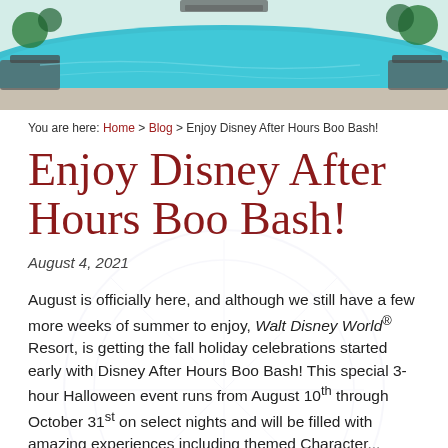[Figure (photo): Outdoor resort pool with turquoise water, lounge chairs, and tropical landscaping]
You are here: Home > Blog > Enjoy Disney After Hours Boo Bash!
Enjoy Disney After Hours Boo Bash!
August 4, 2021
August is officially here, and although we still have a few more weeks of summer to enjoy, Walt Disney World® Resort, is getting the fall holiday celebrations started early with Disney After Hours Boo Bash! This special 3-hour Halloween event runs from August 10th through October 31st on select nights and will be filled with amazing experiences including themed Character...